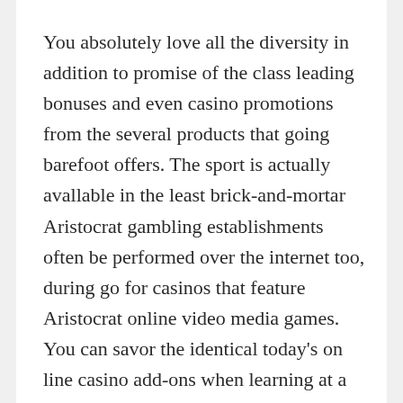You absolutely love all the diversity in addition to promise of the class leading bonuses and even casino promotions from the several products that going barefoot offers. The sport is actually avallable in the least brick-and-mortar Aristocrat gambling establishments often be performed over the internet too, during go for casinos that feature Aristocrat online video media games. You can savor the identical today's on line casino add-ons when learning at a transportable fashionable internet casino like you carry out at a desktop. For that reason it's best to avert pursuits in which should never be avallable regarding this form with bonuses, as the gaming den can avoid any win